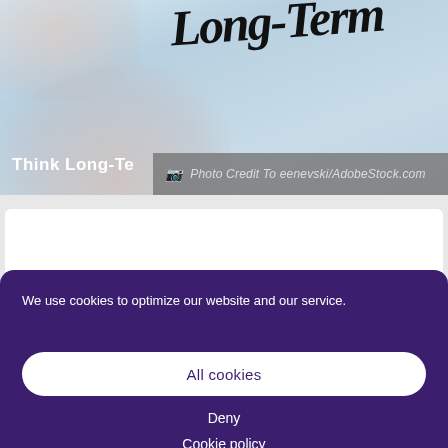[Figure (photo): A photo showing a hand writing 'Long-Term' in large handwritten text on a white surface. The text is partially cropped. Bottom-left white text reads 'Think Long-Te...' and a photo credit overlay reads 'Photo Credit To eenevski/AdobeStock.com'.]
Photo Credit To eenevski/AdobeStock.com
We use cookies to optimize our website and our service.
All cookies
Deny
Cookie policy